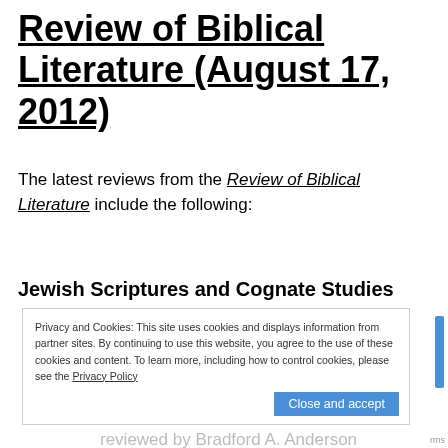Review of Biblical Literature (August 17, 2012)
The latest reviews from the Review of Biblical Literature include the following:
Jewish Scriptures and Cognate Studies
Privacy and Cookies: This site uses cookies and displays information from partner sites. By continuing to use this website, you agree to the use of these cookies and content. To learn more, including how to control cookies, please see the Privacy Policy
© Reinhard Achenbach, Rainer Albertz, and Jakob Wöhrle, eds. The Foreigner and the Law: Perspectives from the Hebrew Bible and the Ancient Near East,
reviewed by Bradford A. Anderson